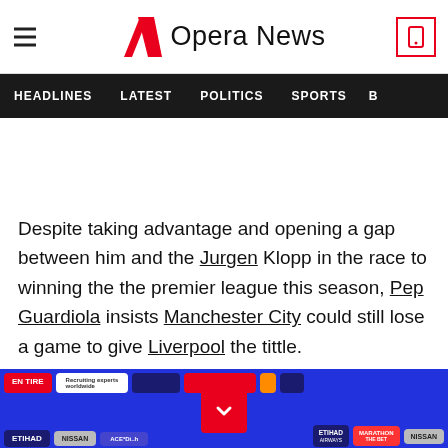Opera News
HEADLINES | LATEST | POLITICS | SPORTS
Despite taking advantage and opening a gap between him and the Jurgen Klopp in the race to winning the the premier league this season, Pep Guardiola insists Manchester City could still lose a game to give Liverpool the tittle.
[Figure (photo): Advertisement banner with sponsor logos including Etihad Airways, Marathon Bet, Nissan, and others on a blue background with a red download/expand button.]